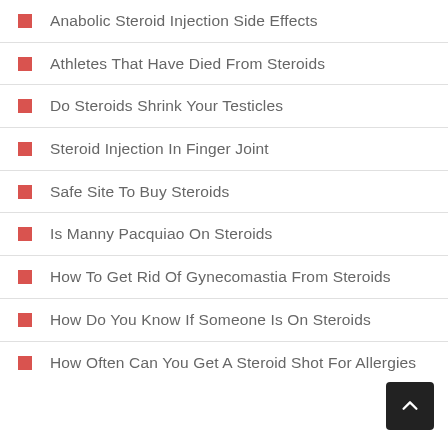Anabolic Steroid Injection Side Effects
Athletes That Have Died From Steroids
Do Steroids Shrink Your Testicles
Steroid Injection In Finger Joint
Safe Site To Buy Steroids
Is Manny Pacquiao On Steroids
How To Get Rid Of Gynecomastia From Steroids
How Do You Know If Someone Is On Steroids
How Often Can You Get A Steroid Shot For Allergies